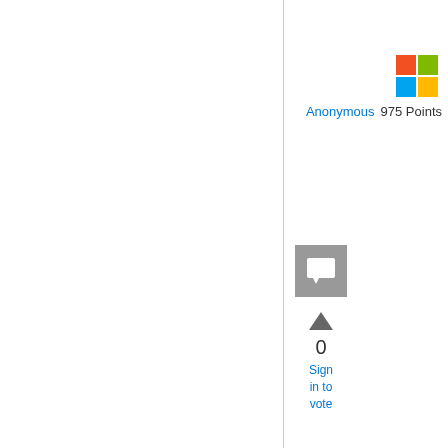[Figure (logo): Microsoft four-color square logo (red, green, blue, yellow squares in 2x2 grid)]
Anonymous  975 Points
[Figure (illustration): Grey square chat/reply icon]
[Figure (illustration): Upvote triangle arrow]
0
Sign in to vote
User1062417797 posted
Hi awilinsk,

 Thanks for the quick reply. Aha. so all output is created sequentially and RenderEndTag automatically knows how to end a Tag. Ok, I'll give this a try. Thanks for the trick.